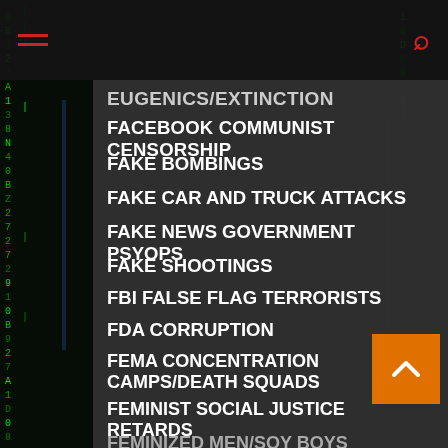Navigation menu with hamburger icon and search icon
EUGENICS/EXTINCTION (partial, top)
FACEBOOK COMMUNIST CENSORSHIP
FAKE BOMBINGS
FAKE CAR AND TRUCK ATTACKS
FAKE NEWS GOVERNMENT PSYOPS
FAKE SHOOTINGS
FBI FALSE FLAG TERRORISTS
FDA CORRUPTION
FEMA CONCENTRATION CAMPS/DEATH SQUADS
FEMINIST SOCIAL JUSTICE RETARDS
FEMINIZED MEN/SOY BOYS
FISA ILLEGAL SPYING
FLUORIDE CHEMICAL WARFARE
FORCED VACCINATIONS
(partial bottom item, cut off)